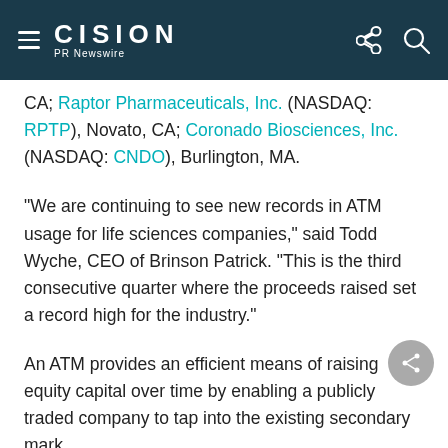CISION PR Newswire
CA; Raptor Pharmaceuticals, Inc. (NASDAQ: RPTP), Novato, CA; Coronado Biosciences, Inc. (NASDAQ: CNDO), Burlington, MA.
"We are continuing to see new records in ATM usage for life sciences companies," said Todd Wyche, CEO of Brinson Patrick. "This is the third consecutive quarter where the proceeds raised set a record high for the industry."
An ATM provides an efficient means of raising equity capital over time by enabling a publicly traded company to tap into the existing secondary mark... for it...